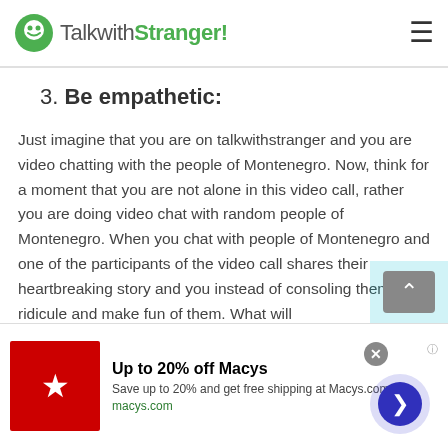TalkwithStranger!
3. Be empathetic:
Just imagine that you are on talkwithstranger and you are video chatting with the people of Montenegro. Now, think for a moment that you are not alone in this video call, rather you are doing video chat with random people of Montenegro. When you chat with people of Montenegro and one of the participants of the video call shares their heartbreaking story and you instead of consoling them, ridicule and make fun of them. What will
[Figure (screenshot): Advertisement for Macy's: Up to 20% off Macy's, Save up to 20% and get free shipping at Macys.com, macys.com]